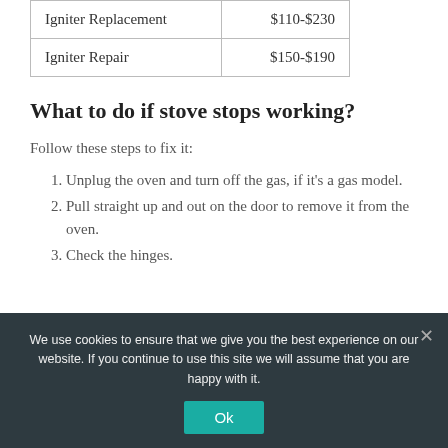| Service | Cost |
| --- | --- |
| Igniter Replacement | $110-$230 |
| Igniter Repair | $150-$190 |
What to do if stove stops working?
Follow these steps to fix it:
Unplug the oven and turn off the gas, if it's a gas model.
Pull straight up and out on the door to remove it from the oven.
Check the hinges.
We use cookies to ensure that we give you the best experience on our website. If you continue to use this site we will assume that you are happy with it.